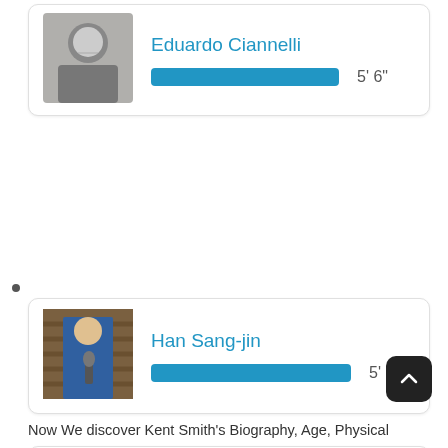[Figure (photo): Black and white photo of Eduardo Ciannelli]
Eduardo Ciannelli
5' 6"
[Figure (photo): Photo of Han Sang-jin in blue suit holding microphone]
Han Sang-jin
5' 11"
[Figure (photo): Photo of Aaron Douglas in black Anthrax shirt]
Aaron Douglas
5' 10"
Now We discover Kent Smith's Biography, Age, Physical